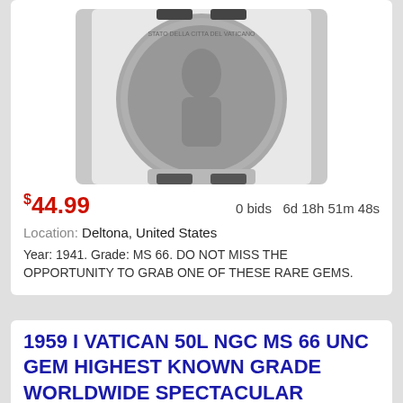[Figure (photo): Coin in NGC slab holder, Vatican 1 Lire coin photo (top portion visible)]
$44.99   0 bids   6d 18h 51m 48s
Location: Deltona, United States
Year: 1941. Grade: MS 66. DO NOT MISS THE OPPORTUNITY TO GRAB ONE OF THESE RARE GEMS.
1959 I VATICAN 50L NGC MS 66 UNC GEM HIGHEST KNOWN GRADE WORLDWIDE SPECTACULAR
[Figure (photo): NGC graded coin slab showing Vatican 50 Lire coin, two coins visible at bottom against dark background with NGC logo]